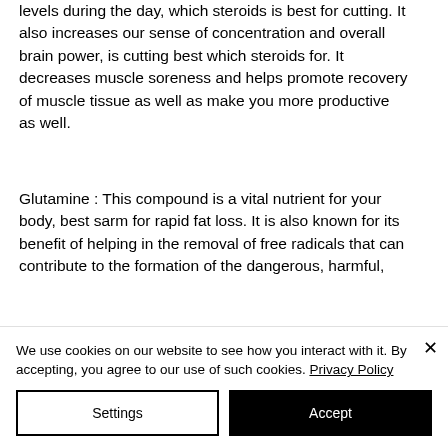day and also helps decrease your stress levels during the day, which steroids is best for cutting. It also increases our sense of concentration and overall brain power, is cutting best which steroids for. It decreases muscle soreness and helps promote recovery of muscle tissue as well as make you more productive as well.
Glutamine : This compound is a vital nutrient for your body, best sarm for rapid fat loss. It is also known for its benefit of helping in the removal of free radicals that can contribute to the formation of the dangerous, harmful,
We use cookies on our website to see how you interact with it. By accepting, you agree to our use of such cookies. Privacy Policy